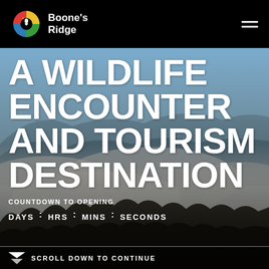[Figure (logo): Boone's Ridge colorful circular logo icon with leaf/wildlife motif]
Boone's Ridge
[Figure (photo): Aerial landscape photo of misty mountain ridges and forested valleys with fog rolling through the trees, blue sky with mountains in background]
A WILDLIFE ENCOUNTER AND TOURISM DESTINATION
COUNTDOWN TO OPENING
DAYS : HRS : MINS : SECONDS
SCROLL DOWN TO CONTINUE